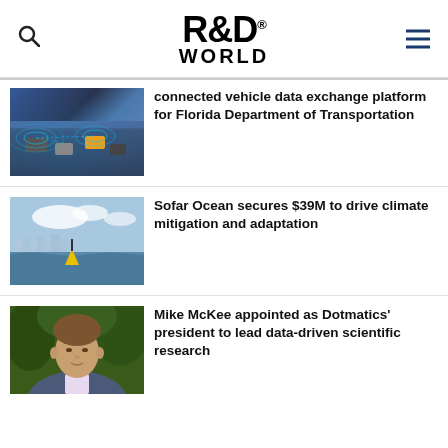R&D WORLD
[Figure (photo): Aerial view of a road with connected/autonomous vehicles showing wireless data exchange signals illustrated with blue circular waves]
connected vehicle data exchange platform for Florida Department of Transportation
[Figure (photo): Ocean buoy floating on water with a city skyline visible in the background, partly cloudy sky]
Sofar Ocean secures $39M to drive climate mitigation and adaptation
[Figure (photo): Headshot of Mike McKee, a middle-aged man with brown hair wearing a suit, outdoors with green foliage in background]
Mike McKee appointed as Dotmatics' president to lead data-driven scientific research